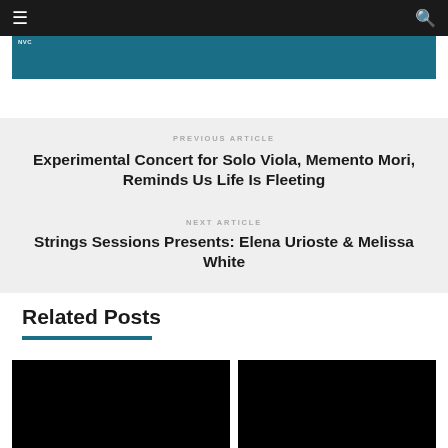☰  🔍
[Figure (other): Teal/dark blue header banner bar]
PREVIOUS ARTICLE
Experimental Concert for Solo Viola, Memento Mori, Reminds Us Life Is Fleeting
NEXT ARTICLE
Strings Sessions Presents: Elena Urioste & Melissa White
Related Posts
[Figure (photo): Black thumbnail image left]
[Figure (photo): Black thumbnail image right]